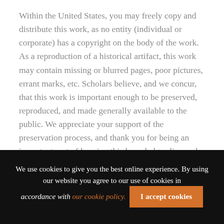Within the United States, you may freely copy and distribute this work, as no entity (individual or corporate) has a copyright on the body of the work. As a reproduction of a historical artifact, this work may contain missing or blurred pages, poor pictures, errant marks, etc. Scholars believe, and we concur, that this work is important enough to be preserved, reproduced, and made generally available to the public. We appreciate your support of the preservation process, and thank you for being an important part of keeping this knowledge alive and relevant.
We use cookies to give you the best online experience. By using our website you agree to our use of cookies in accordance with our cookie policy. I accept cookies